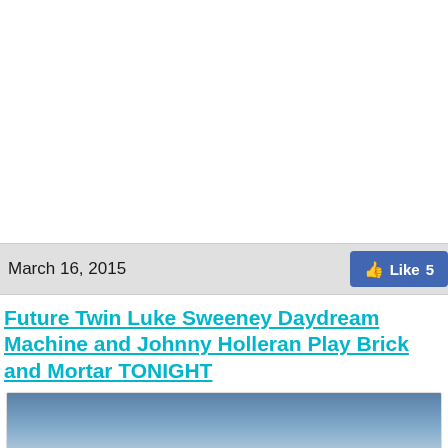March 16, 2015
Future Twin Luke Sweeney Daydream Machine and Johnny Holleran Play Brick and Mortar TONIGHT
[Figure (photo): Sky gradient photo, blue to pale at bottom, partial view]